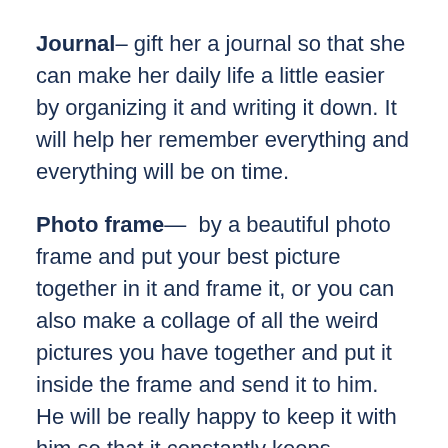Journal– gift her a journal so that she can make her daily life a little easier by organizing it and writing it down. It will help her remember everything and everything will be on time.
Photo frame— by a beautiful photo frame and put your best picture together in it and frame it, or you can also make a collage of all the weird pictures you have together and put it inside the frame and send it to him. He will be really happy to keep it with him so that it constantly keeps reminding him of you.